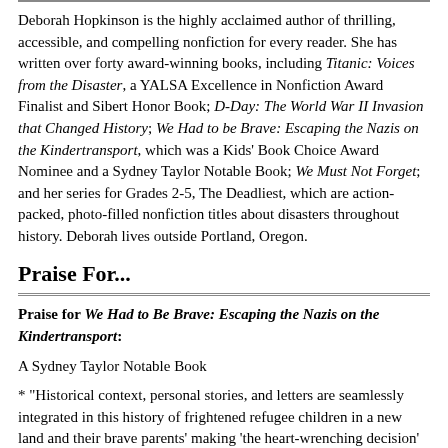Deborah Hopkinson is the highly acclaimed author of thrilling, accessible, and compelling nonfiction for every reader. She has written over forty award-winning books, including Titanic: Voices from the Disaster, a YALSA Excellence in Nonfiction Award Finalist and Sibert Honor Book; D-Day: The World War II Invasion that Changed History; We Had to be Brave: Escaping the Nazis on the Kindertransport, which was a Kids' Book Choice Award Nominee and a Sydney Taylor Notable Book; We Must Not Forget; and her series for Grades 2-5, The Deadliest, which are action-packed, photo-filled nonfiction titles about disasters throughout history. Deborah lives outside Portland, Oregon.
Praise For...
Praise for We Had to Be Brave: Escaping the Nazis on the Kindertransport:
A Sydney Taylor Notable Book
* "Historical context, personal stories, and letters are seamlessly integrated in this history of frightened refugee children in a new land and their brave parents' making 'the heart-wrenching decision' to send their children away with strangers to a foreign country. Well-crafted, accessible, and essential."